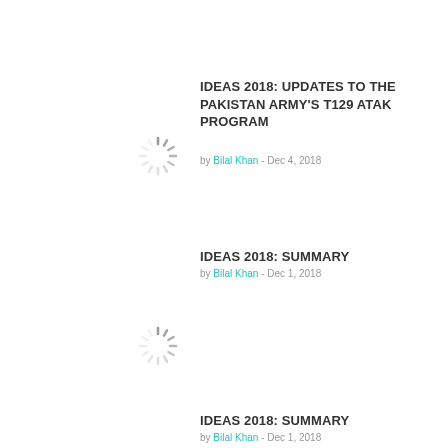IDEAS 2018: UPDATES TO THE PAKISTAN ARMY'S T129 ATAK PROGRAM
by Bilal Khan - Dec 4, 2018
[Figure (other): Loading spinner icon]
IDEAS 2018: SUMMARY
by Bilal Khan - Dec 1, 2018
[Figure (other): Loading spinner icon]
IDEAS 2018: SUMMARY
by Bilal Khan - Dec 1, 2018